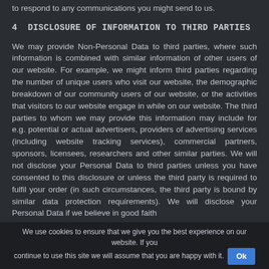to respond to any communications you might send to us.
4  DISCLOSURE OF INFORMATION TO THIRD PARTIES
We may provide Non-Personal Data to third parties, where such information is combined with similar information of other users of our website. For example, we might inform third parties regarding the number of unique users who visit our website, the demographic breakdown of our community users of our website, or the activities that visitors to our website engage in while on our website. The third parties to whom we may provide this information may include for e.g. potential or actual advertisers, providers of advertising services (including website tracking services), commercial partners, sponsors, licensees, researchers and other similar parties. We will not disclose your Personal Data to third parties unless you have consented to this disclosure or unless the third party is required to fulfil your order (in such circumstances, the third party is bound by similar data protection requirements). We will disclose your Personal Data if we believe in good faith
We use cookies to ensure that we give you the best experience on our website. If you continue to use this site we will assume that you are happy with it.